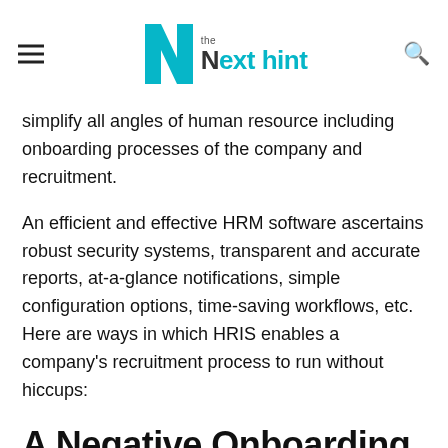The Next Hint
simplify all angles of human resource including onboarding processes of the company and recruitment.
An efficient and effective HRM software ascertains robust security systems, transparent and accurate reports, at-a-glance notifications, simple configuration options, time-saving workflows, etc. Here are ways in which HRIS enables a company's recruitment process to run without hiccups:
A Negative Onboarding Practice
An estimated 33% of employers don't have a structured onboarding process for new employees, according to Business News Daily. A negative